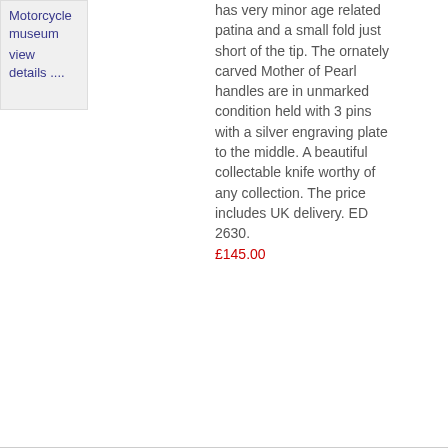Motorcycle museum
view details ....
has very minor age related patina and a small fold just short of the tip. The ornately carved Mother of Pearl handles are in unmarked condition held with 3 pins with a silver engraving plate to the middle. A beautiful collectable knife worthy of any collection. The price includes UK delivery. ED 2630.
£145.00